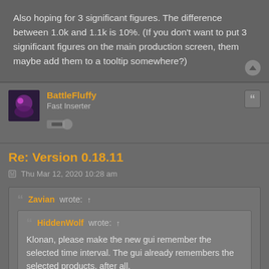Also hoping for 3 significant figures. The difference between 1.0k and 1.1k is 10%. (If you don't want to put 3 significant figures on the main production screen, them maybe add them to a tooltip somewhere?)
BattleFluffy
Fast Inserter
Re: Version 0.18.11
Thu Mar 12, 2020 10:28 am
Zavian wrote: ↑
HiddenWolf wrote: ↑
Klonan, please make the new gui remember the selected time interval. The gui already remembers the selected products, after all.
+1 (Just for the current session would be fine. I don't